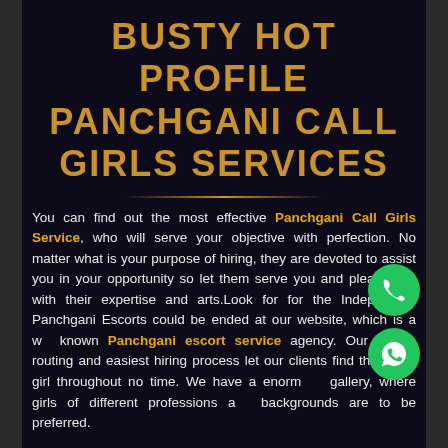BUSTY HOT PROFILE PANCHGANI CALL GIRLS SERVICES
You can find out the most effective Panchgani Call Girls Service, who will serve your objective with perfection. No matter what is your purpose of hiring, they are devoted to assist you in your opportunity so let them serve you and please you with their expertise and arts.Look for for the Independent Panchgani Escorts could be ended at our website, which is a well known Panchgani escort service agency. Our simple routing and easiest hiring process let our clients find their best girl throughout no time. We have a enormous gallery, where girls of different professions and backgrounds are to be preferred.